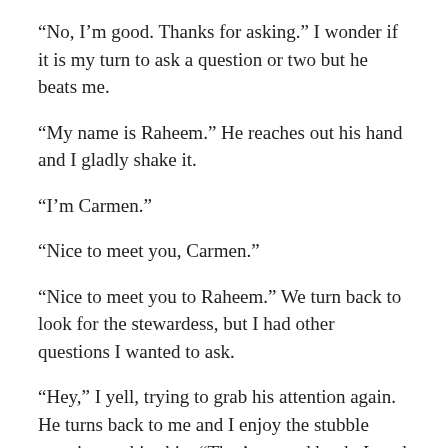“No, I’m good. Thanks for asking.” I wonder if it is my turn to ask a question or two but he beats me.
“My name is Raheem.” He reaches out his hand and I gladly shake it.
“I’m Carmen.”
“Nice to meet you, Carmen.”
“Nice to meet you to Raheem.” We turn back to look for the stewardess, but I had other questions I wanted to ask.
“Hey,” I yell, trying to grab his attention again. He turns back to me and I enjoy the stubble growing on his chin. “That’s a good book. I read it in college.”